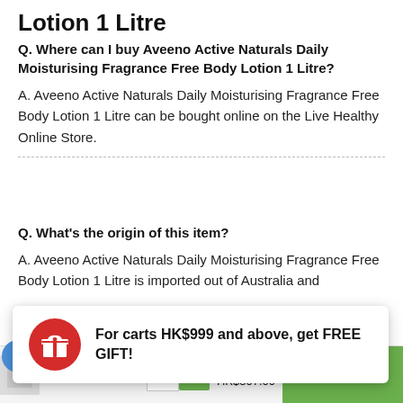Lotion 1 Litre
Q. Where can I buy Aveeno Active Naturals Daily Moisturising Fragrance Free Body Lotion 1 Litre?
A. Aveeno Active Naturals Daily Moisturising Fragrance Free Body Lotion 1 Litre can be bought online on the Live Healthy Online Store.
Q. What's the origin of this item?
A. Aveeno Active Naturals Daily Moisturising Fragrance Free Body Lotion 1 Litre is imported out of Australia and
For carts HK$999 and above, get FREE GIFT!
Aveeno Active Naturals Daily Moisturising Fragrance Free Body Lotion 1 Litre
1   +   HK$451.00  HK$307.00   ADD TO CART